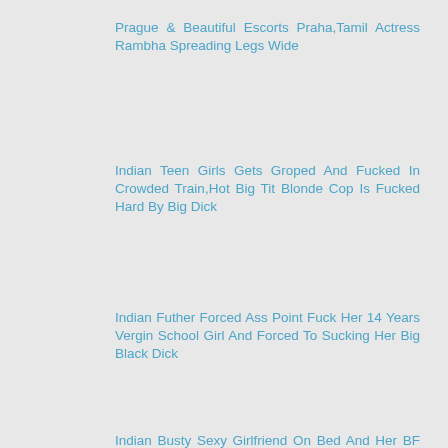Prague & Beautiful Escorts Praha,Tamil Actress Rambha Spreading Legs Wide
Indian Teen Girls Gets Groped And Fucked In Crowded Train,Hot Big Tit Blonde Cop Is Fucked Hard By Big Dick
Indian Futher Forced Ass Point Fuck Her 14 Years Vergin School Girl And Forced To Sucking Her Big Black Dick
Indian Busty Sexy Girlfriend On Bed And Her BF Shot Her Nude Sex Images By Mobile,Sexy